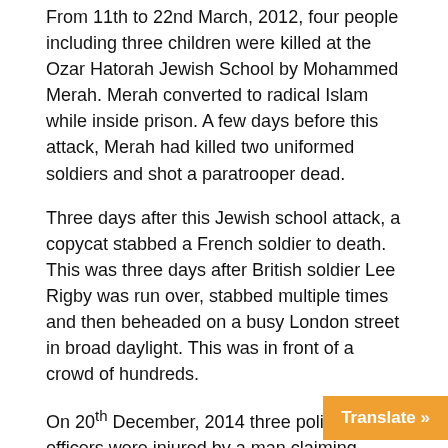From 11th to 22nd March, 2012, four people including three children were killed at the Ozar Hatorah Jewish School by Mohammed Merah. Merah converted to radical Islam while inside prison. A few days before this attack, Merah had killed two uniformed soldiers and shot a paratrooper dead.
Three days after this Jewish school attack, a copycat stabbed a French soldier to death. This was three days after British soldier Lee Rigby was run over, stabbed multiple times and then beheaded on a busy London street in broad daylight. This was in front of a crowd of hundreds.
On 20th December, 2014 three police officers were injured by a man claiming association with Islamist terror groups in the Middle East.
On 21st December, 2014, the next day, a man drove his car into eleven pedestrians shouting “Allahu Akbar” as he drove.
The next day again, on 22nd December, 2014 another man, again yelling “Allahu Akbar” ran over ten p... his van before attempting suicide.